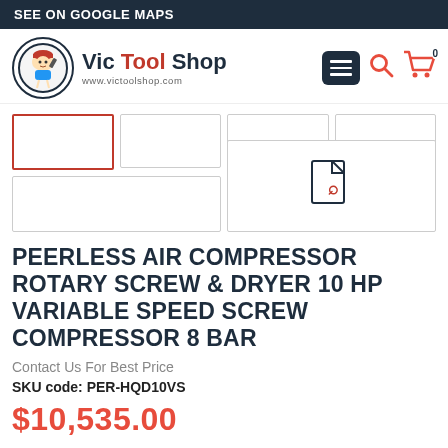SEE ON GOOGLE MAPS
[Figure (logo): Vic Tool Shop logo with circular mascot icon and text 'Vic Tool Shop' and website www.victoolshop.com]
[Figure (screenshot): Navigation icons: hamburger menu button (dark), search icon (red), cart icon (red) with badge 0]
[Figure (screenshot): Five thumbnail image placeholders: four small blank boxes in a row, then one small blank box and one taller PDF icon box]
PEERLESS AIR COMPRESSOR ROTARY SCREW & DRYER 10 HP VARIABLE SPEED SCREW COMPRESSOR 8 BAR
Contact Us For Best Price
SKU code: PER-HQD10VS
$10,535.00